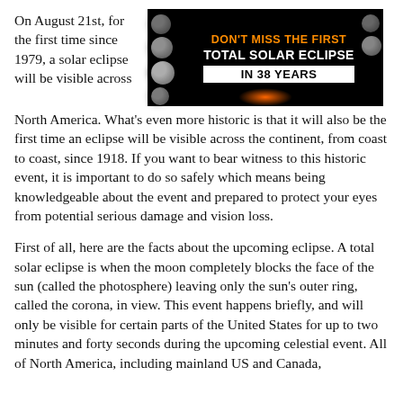On August 21st, for the first time since 1979, a solar eclipse will be visible across North America. What's even more historic is that it will also be the first time an eclipse will be visible across the continent, from coast to coast, since 1918. If you want to bear witness to this historic event, it is important to do so safely which means being knowledgeable about the event and prepared to protect your eyes from potential serious damage and vision loss.
[Figure (infographic): Dark banner advertisement with moon phases on left side, orange text reading 'DON'T MISS THE FIRST', white bold text 'TOTAL SOLAR ECLIPSE', and white box with black text 'IN 38 YEARS'. Orange glow at bottom center.]
First of all, here are the facts about the upcoming eclipse. A total solar eclipse is when the moon completely blocks the face of the sun (called the photosphere) leaving only the sun's outer ring, called the corona, in view. This event happens briefly, and will only be visible for certain parts of the United States for up to two minutes and forty seconds during the upcoming celestial event. All of North America, including mainland US and Canada, however, will witness at least a partial eclipse for the duration of